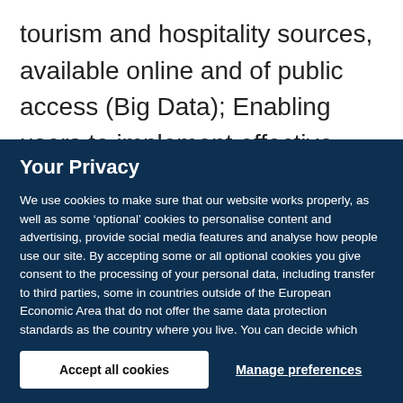tourism and hospitality sources, available online and of public access (Big Data); Enabling users to implement effective digital marketing campaigns
Your Privacy
We use cookies to make sure that our website works properly, as well as some ‘optional’ cookies to personalise content and advertising, provide social media features and analyse how people use our site. By accepting some or all optional cookies you give consent to the processing of your personal data, including transfer to third parties, some in countries outside of the European Economic Area that do not offer the same data protection standards as the country where you live. You can decide which optional cookies to accept by clicking on ‘Manage Settings’, where you can also find more information about how your personal data is processed. Further information can be found in our privacy policy.
Accept all cookies
Manage preferences